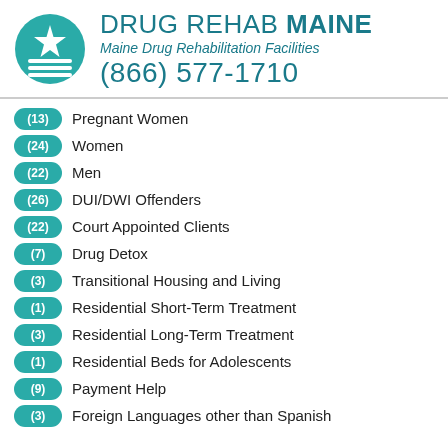[Figure (logo): Drug Rehab Maine logo: teal circle with white star and horizontal lines, beside text 'DRUG REHAB MAINE', 'Maine Drug Rehabilitation Facilities', '(866) 577-1710']
(13) Pregnant Women
(24) Women
(22) Men
(26) DUI/DWI Offenders
(22) Court Appointed Clients
(7) Drug Detox
(3) Transitional Housing and Living
(1) Residential Short-Term Treatment
(3) Residential Long-Term Treatment
(1) Residential Beds for Adolescents
(9) Payment Help
(3) Foreign Languages other than Spanish